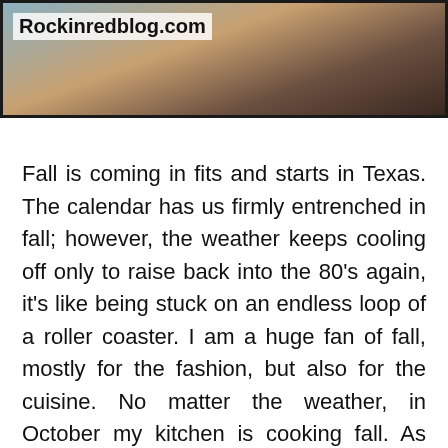[Figure (photo): A cast iron skillet with a food dish, partially visible from above. The image has a watermark reading 'Rockinredblog.com' in the upper left corner.]
Fall is coming in fits and starts in Texas. The calendar has us firmly entrenched in fall; however, the weather keeps cooling off only to raise back into the 80's again, it's like being stuck on an endless loop of a roller coaster. I am a huge fan of fall, mostly for the fashion, but also for the cuisine. No matter the weather, in October my kitchen is cooking fall. As luck would have it I am flooded with wine samples, so here is another delicious fall meal paired with a delicious wine.